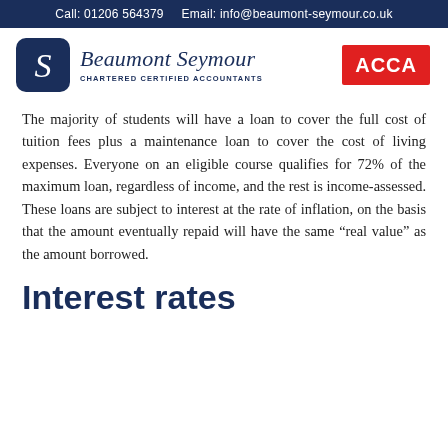Call: 01206 564379    Email: info@beaumont-seymour.co.uk
[Figure (logo): Beaumont Seymour Chartered Certified Accountants logo with dark blue rounded square icon containing a stylized S, company name in serif font, and ACCA red logo on the right]
The majority of students will have a loan to cover the full cost of tuition fees plus a maintenance loan to cover the cost of living expenses. Everyone on an eligible course qualifies for 72% of the maximum loan, regardless of income, and the rest is income-assessed. These loans are subject to interest at the rate of inflation, on the basis that the amount eventually repaid will have the same “real value” as the amount borrowed.
Interest rates